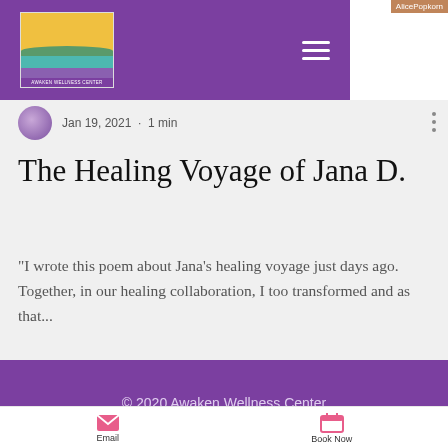Awaken Wellness Center — navigation header
Jan 19, 2021 · 1 min
The Healing Voyage of Jana D.
"I wrote this poem about Jana's healing voyage just days ago. Together, in our healing collaboration, I too transformed and as that..."
© 2020 Awaken Wellness Center